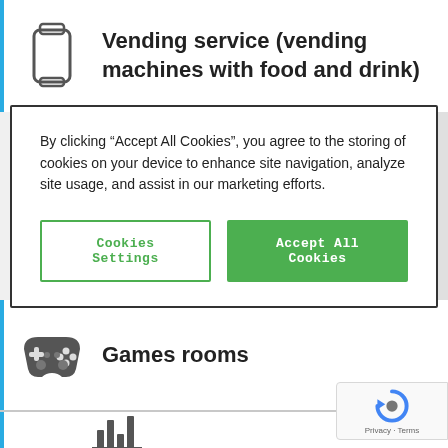Vending service (vending machines with food and drink)
By clicking “Accept All Cookies”, you agree to the storing of cookies on your device to enhance site navigation, analyze site usage, and assist in our marketing efforts.
Cookies Settings | Accept All Cookies
Games rooms
[Figure (other): reCAPTCHA badge with Privacy and Terms links]